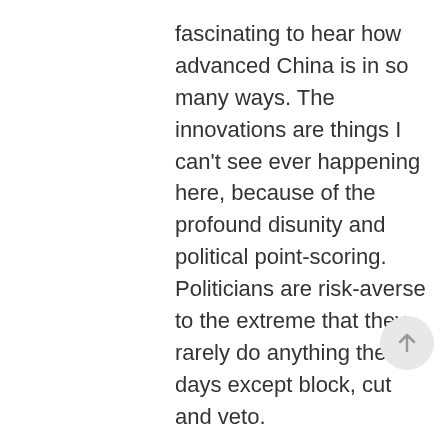fascinating to hear how advanced China is in so many ways. The innovations are things I can't see ever happening here, because of the profound disunity and political point-scoring. Politicians are risk-averse to the extreme that they rarely do anything these days except block, cut and veto.
I'm not saying that China has the answer. I certainly don't think it excels in human rights. But I do find some appeal in the concept